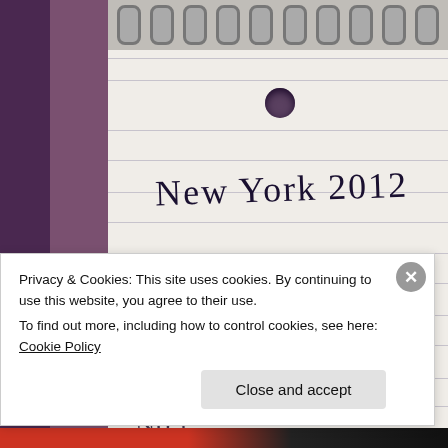[Figure (photo): A close-up photograph of a spiral-bound lined notebook with handwritten text 'New York 2012' and 'Home' written in dark ink. The notebook is cream/white with blue ruled lines. The left side shows a dark purple/brown background surface. A cookie consent banner overlays the bottom of the image.]
Privacy & Cookies: This site uses cookies. By continuing to use this website, you agree to their use.
To find out more, including how to control cookies, see here: Cookie Policy